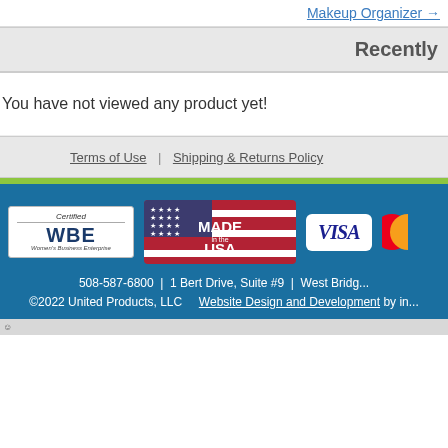Makeup Organizer →
Recently
You have not viewed any product yet!
Terms of Use | Shipping & Returns Policy
[Figure (logo): Certified WBE Women's Business Enterprise logo]
[Figure (logo): Made in the USA badge with American flag]
[Figure (logo): VISA payment logo]
[Figure (logo): Mastercard logo (partially visible)]
508-587-6800 | 1 Bert Drive, Suite #9 | West Bridg...
©2022 United Products, LLC    Website Design and Development by in...